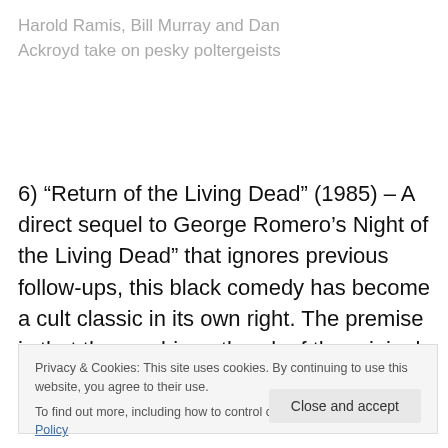Harold Ramis, Bill Murray and Dan Ackroyd take on pesky poltergeists
6) “Return of the Living Dead” (1985) – A direct sequel to George Romero’s Night of the Living Dead” that ignores previous follow-ups, this black comedy has become a cult classic in its own right. The premise is that the zombie outbreak of the original film actually occurred
Privacy & Cookies: This site uses cookies. By continuing to use this website, you agree to their use.
To find out more, including how to control cookies, see here: Cookie Policy